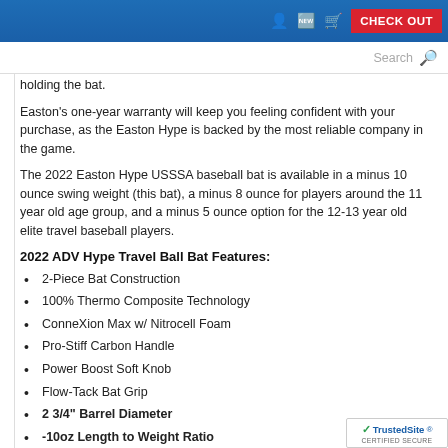CHECK OUT
holding the bat.
Easton's one-year warranty will keep you feeling confident with your purchase, as the Easton Hype is backed by the most reliable company in the game.
The 2022 Easton Hype USSSA baseball bat is available in a minus 10 ounce swing weight (this bat), a minus 8 ounce for players around the 11 year old age group, and a minus 5 ounce option for the 12-13 year old elite travel baseball players.
2022 ADV Hype Travel Ball Bat Features:
2-Piece Bat Construction
100% Thermo Composite Technology
ConneXion Max w/ Nitrocell Foam
Pro-Stiff Carbon Handle
Power Boost Soft Knob
Flow-Tack Bat Grip
2 3/4" Barrel Diameter
-10oz Length to Weight Ratio
[Figure (logo): TrustedSite Certified Secure badge]